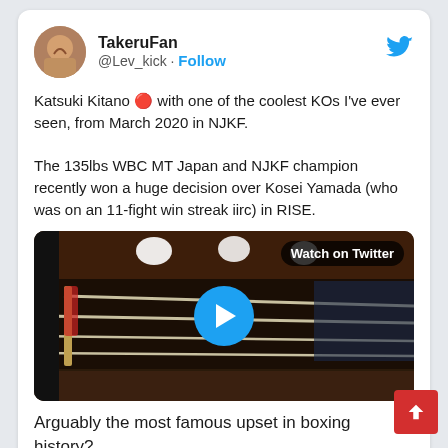TakeruFan @Lev_kick · Follow
Katsuki Kitano 🔴 with one of the coolest KOs I've ever seen, from March 2020 in NJKF.

The 135lbs WBC MT Japan and NJKF champion recently won a huge decision over Kosei Yamada (who was on an 11-fight win streak iirc) in RISE.
[Figure (screenshot): Video thumbnail showing a boxing ring with ropes under arena lighting. A blue circular play button is centered. A 'Watch on Twitter' badge appears in the top right.]
Arguably the most famous upset in boxing history?
Highlights from a seriously violent kickboxing battle